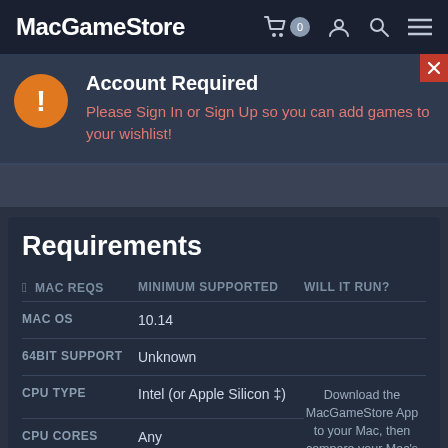MacGameStore
Account Required
Please Sign In or Sign Up so you can add games to your wishlist!
Requirements
| MAC REQS | MINIMUM SUPPORTED | WILL IT RUN? |
| --- | --- | --- |
| MAC OS | 10.14 |  |
| 64BIT SUPPORT | Unknown |  |
| CPU TYPE | Intel (or Apple Silicon ‡) | Download the MacGameStore App to your Mac, then compare your Mac's information in real-time. |
| CPU CORES | Any |  |
| CPU SPEED | 2 GHz |  |